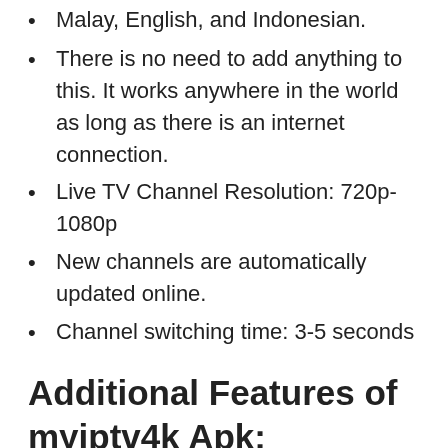Malay, English, and Indonesian.
There is no need to add anything to this. It works anywhere in the world as long as there is an internet connection.
Live TV Channel Resolution: 720p-1080p
New channels are automatically updated online.
Channel switching time: 3-5 seconds
Additional Features of myiptv4k Apk:
myiptv4k Apk is the Pro version of IPTV, you can continue watching your last watched channel and set it to start automatically when the host device is turned on.
A myiptv4k Apk is convenient, well-installed, and easy to use, so you can enjoy a comfortable